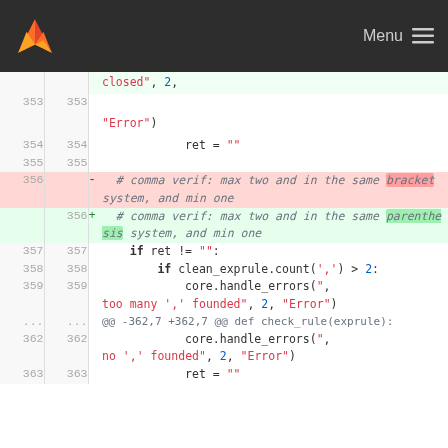[Figure (screenshot): GitLab top navigation bar with logo and Menu hamburger]
Code diff view showing lines 353-363 of a Python file with a change from 'bracket' to 'parenthesis' in a comment
| left_line | right_line | sign | code |
| --- | --- | --- | --- |
|  |  |  | closed", 2, |
| 353 | 353 |  | "Error") |
| 354 | 354 |  | ret = "" |
| 355 | 355 |  |  |
| 356 |  | - | # comma verif: max two and in the same bracket system, and min one |
|  | 356 | + | # comma verif: max two and in the same parenthesis system, and min one |
| 357 | 357 |  | if ret != ": |
| 358 | 358 |  | if clean_exprule.count(',') > 2: |
| 359 | 359 |  | core.handle_errors(", too many ',' founded", 2, "Error") |
| ... | ... |  | @@ -362,7 +362,7 @@ def check_rule(exprule): |
| 362 | 362 |  | core.handle_errors(", no ',' founded", 2, "Error") |
| 363 | 363 |  | ret = "" |